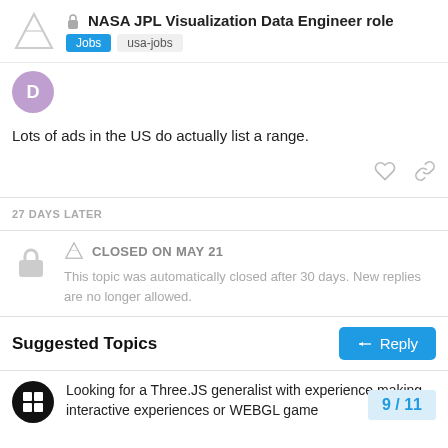NASA JPL Visualization Data Engineer role | Jobs | usa-jobs
Lots of ads in the US do actually list a range.
27 DAYS LATER
CLOSED ON MAY 21
This topic was automatically closed after 30 days. New replies are no longer allowed.
Suggested Topics
Looking for a Three.JS generalist with experience making interactive experiences or WEBGL game
9 / 11